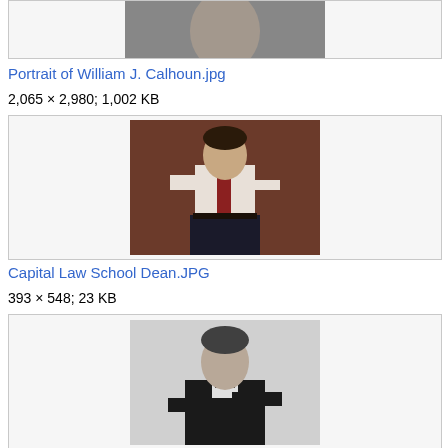[Figure (photo): Partial thumbnail of a portrait photo, cropped at top, showing a dark background]
Portrait of William J. Calhoun.jpg
2,065 × 2,980; 1,002 KB
[Figure (photo): Portrait photo of a man in a white shirt and dark tie, smiling, standing in an office setting]
Capital Law School Dean.JPG
393 × 548; 23 KB
[Figure (photo): Black and white portrait photo of an older man in a suit with arms crossed, partially visible]